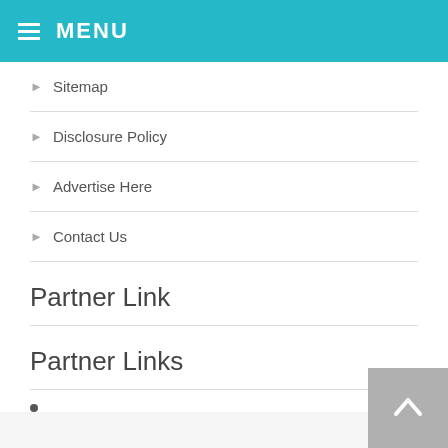MENU
Sitemap
Disclosure Policy
Advertise Here
Contact Us
Partner Link
Partner Links